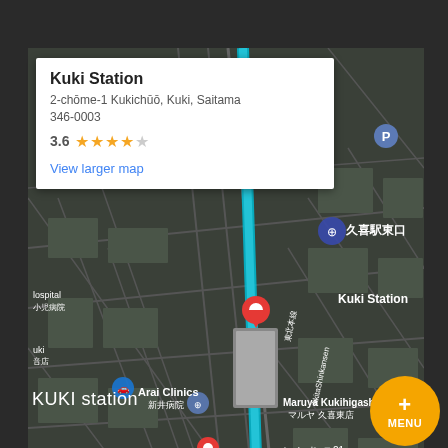[Figure (map): Google Maps screenshot showing Kuki Station (久喜駅東口) area in Kuki, Saitama, Japan. Shows aerial/satellite view with street overlay. Info card shows station name, address, rating 3.6 stars. Map shows nearby landmarks: Arai Clinics, Maruya Kukihigashi, レオパレス21, 2 CHOME 2丁目. Akita Shinkansen train line visible. Google branding and map controls visible.]
KUKI station